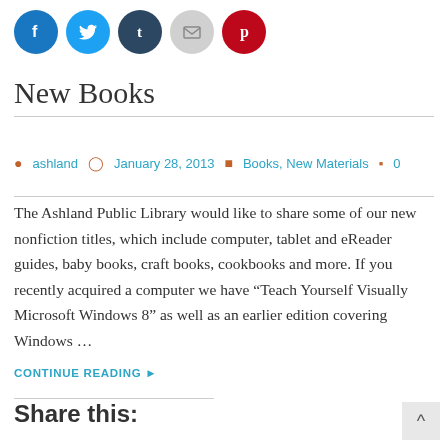[Figure (other): Social share icon buttons: Facebook (blue), Twitter (cyan), Tumblr (dark blue), Email (gray), Pinterest (red)]
New Books
ashland   January 28, 2013   Books, New Materials   0
The Ashland Public Library would like to share some of our new nonfiction titles, which include computer, tablet and eReader guides, baby books, craft books, cookbooks and more. If you recently acquired a computer we have “Teach Yourself Visually Microsoft Windows 8” as well as an earlier edition covering Windows …
CONTINUE READING ▶
Share this: